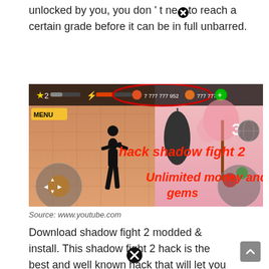unlocked by you, you don't neⓗto reach a certain grade before it can be in full unbarred.
[Figure (screenshot): Screenshot of Shadow Fight 2 game hack showing unlimited money and gems. The game interface shows a dark fighter silhouette, a punching bag, game UI elements including menu button, star level 2, health bars, and currency showing 7 777 777 952 and 777 777 77. Red text overlay reads 'hack shadow fight 2' and 'Unlimited money and gems'. A red circle highlights the currency area. The number 3 is visible on the right side.]
Source: www.youtube.com
Download shadow fight 2 modded & install. This shadow fight 2 hack is the best and well known hack that will let you go through all the online games free and unlock all the levels easily.